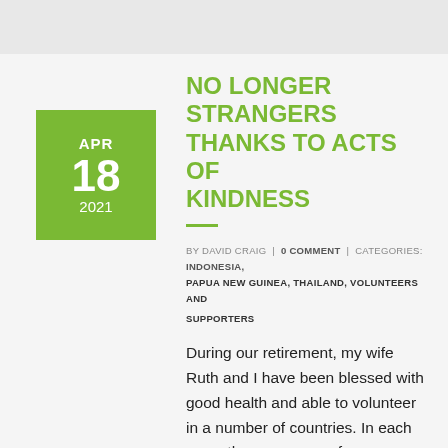NO LONGER STRANGERS THANKS TO ACTS OF KINDNESS
BY DAVID CRAIG | 0 COMMENT | CATEGORIES: INDONESIA, PAPUA NEW GUINEA, THAILAND, VOLUNTEERS AND SUPPORTERS
During our retirement, my wife Ruth and I have been blessed with good health and able to volunteer in a number of countries. In each case, there were new faces, a new language and a different culture. As strangers in foreign lands, we knew there would be challenges. But